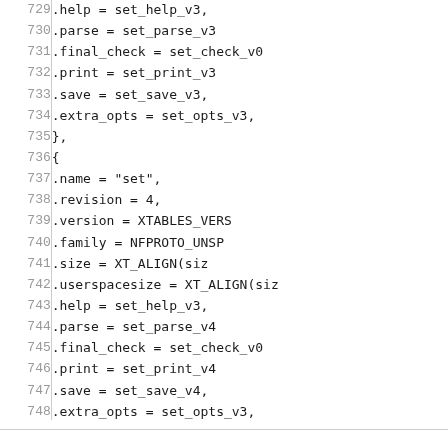Source code listing lines 729-755, showing C struct initializer fields and void _init(void) function